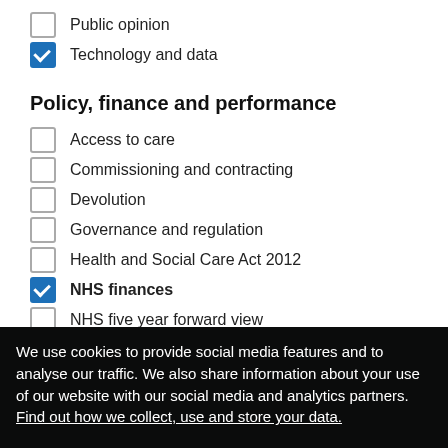Public opinion (unchecked)
Technology and data (checked)
Policy, finance and performance
Access to care (unchecked)
Commissioning and contracting (unchecked)
Devolution (unchecked)
Governance and regulation (unchecked)
Health and Social Care Act 2012 (unchecked)
NHS finances (checked, bold)
NHS five year forward view (unchecked)
Performance (unchecked)
Productivity (unchecked)
Social care finances (unchecked, partially visible)
We use cookies to provide social media features and to analyse our traffic. We also share information about your use of our website with our social media and analytics partners. Find out how we collect, use and store your data.